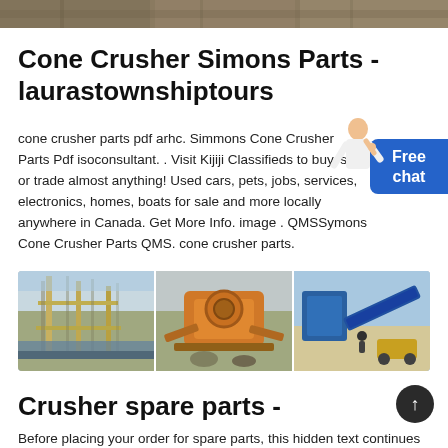[Figure (photo): Top banner image showing industrial/mining equipment scene]
Cone Crusher Simons Parts - laurastownshiptours
cone crusher parts pdf arhc. Simmons Cone Crusher Parts Pdf isoconsultant. . Visit Kijiji Classifieds to buy, sell, or trade almost anything! Used cars, pets, jobs, services, electronics, homes, boats for sale and more locally anywhere in Canada. Get More Info. image . QMSSymons Cone Crusher Parts QMS. cone crusher parts.
[Figure (photo): Three panel composite photo of industrial crushers and mining equipment]
Crusher spare parts -
Before placing your order for spare parts, this hidden text continues